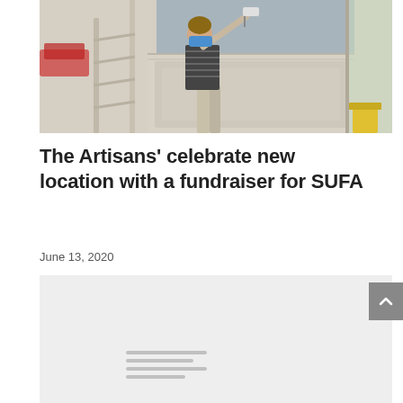[Figure (photo): A person wearing a blue mask and striped shirt painting a wall with a roller, standing on a ladder inside a room. The wall has white wainscoting paneling below a gray painted upper section.]
The Artisans’ celebrate new location with a fundraiser for SUFA
June 13, 2020
[Figure (other): Placeholder loading block with gray horizontal lines indicating loading content]